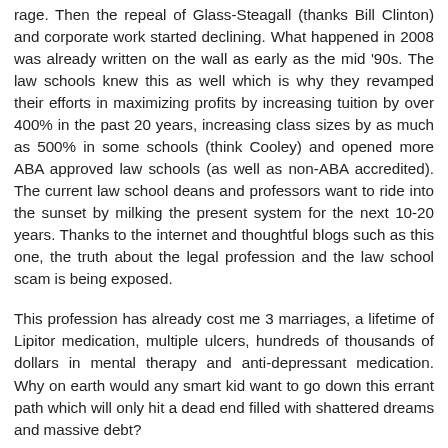rage. Then the repeal of Glass-Steagall (thanks Bill Clinton) and corporate work started declining. What happened in 2008 was already written on the wall as early as the mid '90s. The law schools knew this as well which is why they revamped their efforts in maximizing profits by increasing tuition by over 400% in the past 20 years, increasing class sizes by as much as 500% in some schools (think Cooley) and opened more ABA approved law schools (as well as non-ABA accredited). The current law school deans and professors want to ride into the sunset by milking the present system for the next 10-20 years. Thanks to the internet and thoughtful blogs such as this one, the truth about the legal profession and the law school scam is being exposed.
This profession has already cost me 3 marriages, a lifetime of Lipitor medication, multiple ulcers, hundreds of thousands of dollars in mental therapy and anti-depressant medication. Why on earth would any smart kid want to go down this errant path which will only hit a dead end filled with shattered dreams and massive debt?